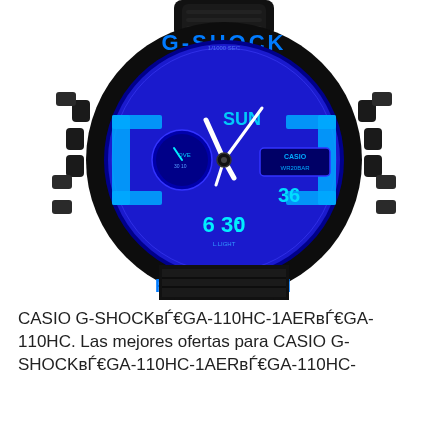[Figure (photo): Casio G-Shock GA-110HC-1AER watch with black case and blue dial. The watch face shows G-SHOCK branding in blue at the top, PROTECTION text in blue at the bottom of the bezel, an analog-digital display with blue illuminated face showing SUN, time 6:30, and date 36. CASIO WR20BAR label on the dial. SHOCK RESIST text on lower bezel.]
CASIO G-SHOCKвЃ€GA-110HC-1AERвЃ€GA-110HC. Las mejores ofertas para CASIO G-SHOCKвЃ€GA-110HC-1AERвЃ€GA-110HC-